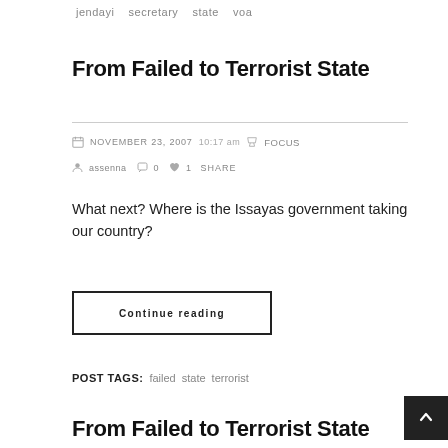jendayi  secretary  state  voa
From Failed to Terrorist State
NOVEMBER 23, 2007  10:17 am  FOCUS
assenna  0  1  SHARE
What next? Where is the Issayas government taking our country?
Continue reading
POST TAGS:  failed  state  terrorist
From Failed to Terrorist State